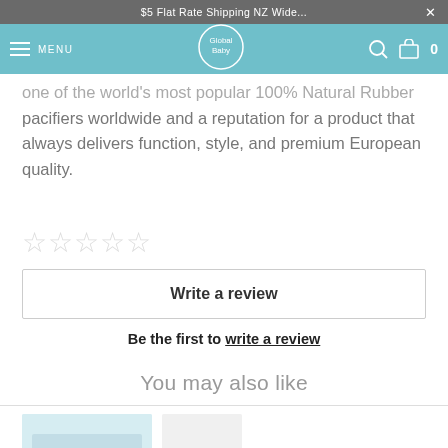$5 Flat Rate Shipping NZ Wide...
MENU | Global Baby logo | search | cart 0
one of the world's most popular 100% Natural Rubber pacifiers worldwide and a reputation for a product that always delivers function, style, and premium European quality.
☆☆☆☆☆
Write a review
Be the first to write a review
You may also like